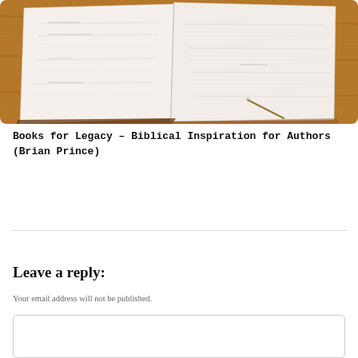[Figure (photo): An open blank notebook/journal lying on a wooden table, photographed from above. The notebook has white pages with faint ruled lines, open to the middle spread. The wooden surface is a warm brown with visible grain.]
Books for Legacy – Biblical Inspiration for Authors (Brian Prince)
Leave a reply:
Your email address will not be published.